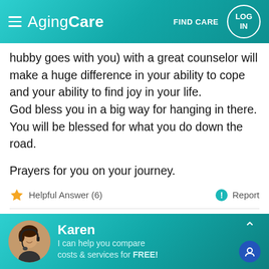AgingCare — FIND CARE — LOG IN
hubby goes with you) with a great counselor will make a huge difference in your ability to cope and your ability to find joy in your life. God bless you in a big way for hanging in there. You will be blessed for what you do down the road.
Prayers for you on your journey.
Helpful Answer (6)   Report
Countrymouse
Oct 2020
Karen
I can help you compare costs & services for FREE!